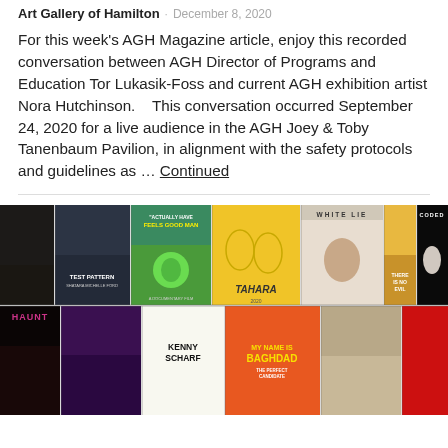Art Gallery of Hamilton · December 8, 2020
For this week's AGH Magazine article, enjoy this recorded conversation between AGH Director of Programs and Education Tor Lukasik-Foss and current AGH exhibition artist Nora Hutchinson.    This conversation occurred September 24, 2020 for a live audience in the AGH Joey & Toby Tanenbaum Pavilion, in alignment with the safety protocols and guidelines as … Continued
[Figure (photo): A mosaic grid of film poster thumbnails including: Test Pattern, Feels Good Man, Tahara, White Lie, There Is No Evil, Coded Bias (top row); Haunt, Kenny Scharf, My Name Is Baghdad, The Perfect Candidate (bottom row, partial)]